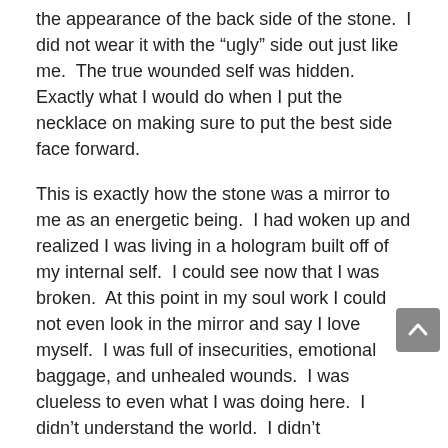the appearance of the back side of the stone.  I did not wear it with the “ugly” side out just like me.  The true wounded self was hidden.  Exactly what I would do when I put the necklace on making sure to put the best side face forward.
This is exactly how the stone was a mirror to me as an energetic being.  I had woken up and realized I was living in a hologram built off of my internal self.  I could see now that I was broken.  At this point in my soul work I could not even look in the mirror and say I love myself.  I was full of insecurities, emotional baggage, and unhealed wounds.  I was clueless to even what I was doing here.  I didn’t understand the world.  I didn’t understand why I was here.  I didn’t want to be in my body.  I certainly didn’t understand any possible purpose in being in a world where so much hurt was going on.  The news was horrifying to me.  The state of